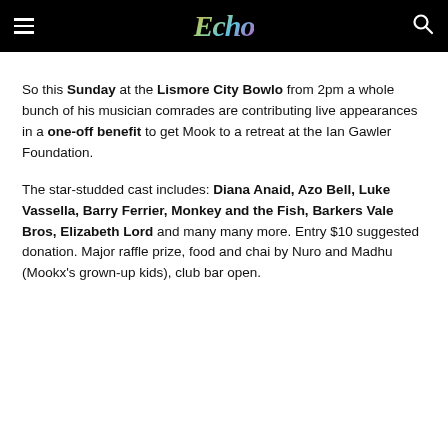Echo
So this Sunday at the Lismore City Bowlo from 2pm a whole bunch of his musician comrades are contributing live appearances in a one-off benefit to get Mook to a retreat at the Ian Gawler Foundation.
The star-studded cast includes: Diana Anaid, Azo Bell, Luke Vassella, Barry Ferrier, Monkey and the Fish, Barkers Vale Bros, Elizabeth Lord and many many more. Entry $10 suggested donation. Major raffle prize, food and chai by Nuro and Madhu (Mookx's grown-up kids), club bar open.